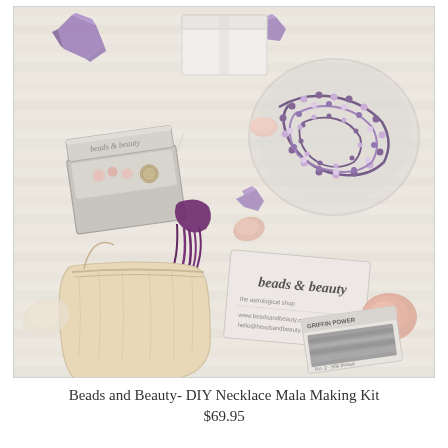[Figure (photo): Flat lay product photo of a Beads and Beauty DIY Necklace Mala Making Kit on a light wood surface. Items shown include: crystal/amethyst gemstone chunks, a small white gift box, a silver jewelry box containing pink beads and a medallion charm, a glass bowl filled with purple/amethyst beaded mala strands, purple thread/tassel, small rose quartz tumbled stones, a cream muslin drawstring bag, a 'beads and beauty' branded business card, and a card of grey threading cord.]
Beads and Beauty- DIY Necklace Mala Making Kit
$69.95